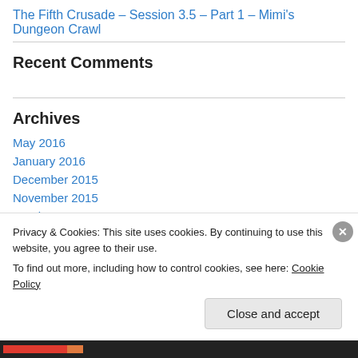The Fifth Crusade – Session 3.5 – Part 1 – Mimi's Dungeon Crawl
Recent Comments
Archives
May 2016
January 2016
December 2015
November 2015
October 2015
Privacy & Cookies: This site uses cookies. By continuing to use this website, you agree to their use.
To find out more, including how to control cookies, see here: Cookie Policy
Close and accept